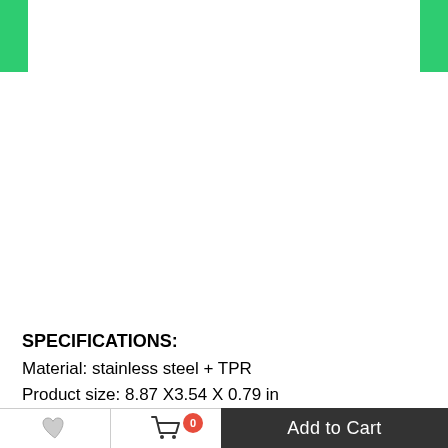[Figure (screenshot): Green corner tab on top-left]
[Figure (screenshot): Green corner tab on top-right]
SPECIFICATIONS:
Material: stainless steel + TPR
Product size: 8.87 X3.54 X 0.79 in
Color: GREEN+GRAY
[Figure (photo): Product photo showing stainless steel items on gray background, with Google logo visible bottom-left]
Add to Cart